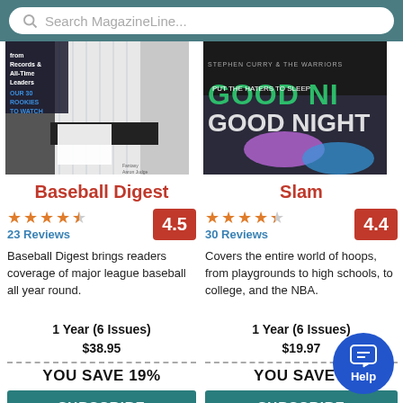Search MagazineLine...
[Figure (photo): Cover of Baseball Digest magazine showing a baseball player in pinstripe uniform, with text 'Records & All-Time Leaders' and 'OUR 30 ROOKIES TO WATCH']
Baseball Digest
23 Reviews  4.5
Baseball Digest brings readers coverage of major league baseball all year round.
1 Year (6 Issues)
$38.95
YOU SAVE 19%
SUBSCRIBE
[Figure (photo): Cover of Slam magazine showing basketball sneakers, with text 'STEPHEN CURRY & THE WARRIORS', 'GOOD NIGHT', 'PUT THE HATERS TO SLEEP']
Slam
30 Reviews  4.4
Covers the entire world of hoops, from playgrounds to high schools, to college, and the NBA.
1 Year (6 Issues)
$19.97
YOU SAVE 6
SUBSCRIBE